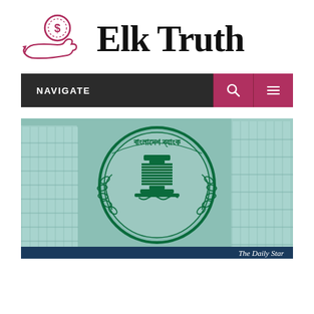[Figure (logo): Elk Truth website logo: a red hand holding a coin with a dollar sign, next to bold serif text reading 'Elk Truth']
[Figure (screenshot): Navigation bar with dark background showing 'NAVIGATE' label and two crimson buttons with search (magnifier) and hamburger menu icons]
[Figure (photo): Photo of Bangladesh Bank building exterior with green circular Bangladesh Bank logo/seal overlaid on a teal-tinted glass skyscraper background. Bottom-right corner shows 'The Daily Star' credit in dark blue bar.]